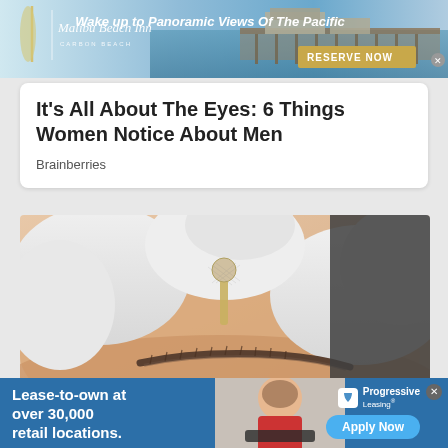[Figure (screenshot): Top advertisement banner for Malibu Beach Inn - Carbon Beach with ocean/pier backdrop. Text: 'Wake up to Panoramic Views Of The Pacific' and 'RESERVE NOW' button.]
It's All About The Eyes: 6 Things Women Notice About Men
Brainberries
[Figure (photo): Close-up photo of gloved hands performing an eyebrow threading or microblading procedure near a person's eyebrow.]
[Figure (screenshot): Bottom advertisement for Progressive Leasing: 'Lease-to-own at over 30,000 retail locations.' with Apply Now button and image of a child with a handheld device.]